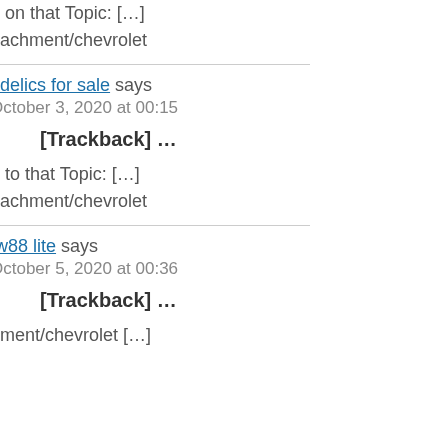e on that Topic: […]
ttachment/chevrolet
edelics for sale says
October 3, 2020 at 00:15
[Trackback] …
o to that Topic: […]
ttachment/chevrolet
:w88 lite says
October 5, 2020 at 00:36
[Trackback] …
ament/chevrolet […]